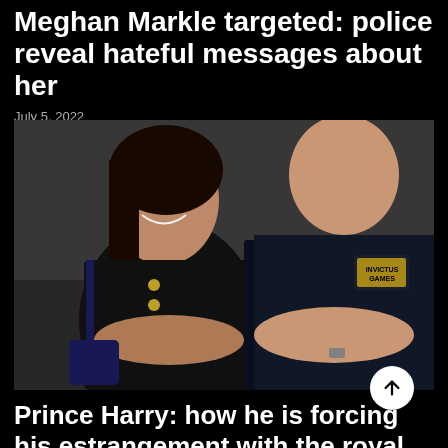Meghan Markle targeted: police reveal hateful messages about her
July 5, 2022
[Figure (photo): Meghan Markle and Prince Harry standing together with arms crossed, both wearing dark clothing. Meghan is smiling, wearing a black jacket with gold buttons and carrying a dark bag. Harry is wearing a black polo shirt with an Invictus Games logo.]
Prince Harry: how he is forcing his estrangement with the royal family not to be in The Crown